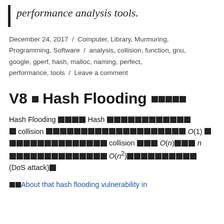performance analysis tools.
December 24, 2017 / Computer, Library, Murmuring, Programming, Software / analysis, collision, function, gnu, google, gperf, hash, malloc, naming, perfect, performance, tools / Leave a comment
V8 의 Hash Flooding 대응방법
Hash Flooding 공격은 Hash 테이블에서의 collision 이 발생하지 않으면 O(1) 의 lookup 성능을 가지지만 collision 이 많으면 O(n)이고 n 이 커지게 되면 O(n²)의 성능을 내게 되므로 (DoS attack)를
🔗About that hash flooding vulnerability in